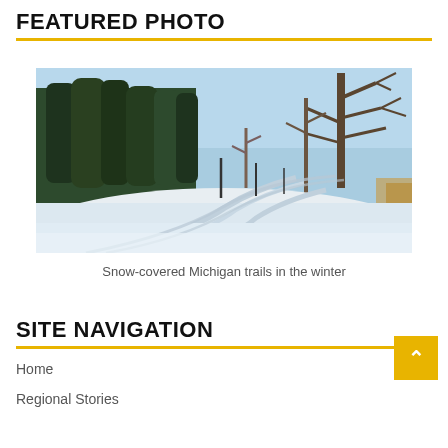FEATURED PHOTO
[Figure (photo): Snow-covered Michigan trails in the winter. A wide snowy path curves through a park with bare trees and evergreens under a clear blue sky.]
Snow-covered Michigan trails in the winter
SITE NAVIGATION
Home
Regional Stories